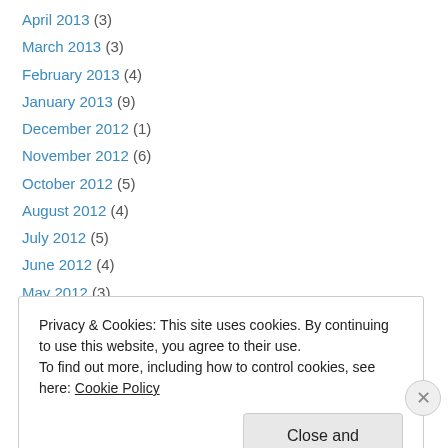April 2013 (3)
March 2013 (3)
February 2013 (4)
January 2013 (9)
December 2012 (1)
November 2012 (6)
October 2012 (5)
August 2012 (4)
July 2012 (5)
June 2012 (4)
May 2012 (3)
April 2012 (4)
March 2012 (6)
Privacy & Cookies: This site uses cookies. By continuing to use this website, you agree to their use. To find out more, including how to control cookies, see here: Cookie Policy